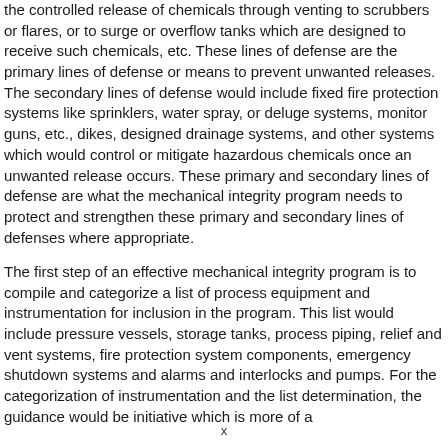the controlled release of chemicals through venting to scrubbers or flares, or to surge or overflow tanks which are designed to receive such chemicals, etc. These lines of defense are the primary lines of defense or means to prevent unwanted releases. The secondary lines of defense would include fixed fire protection systems like sprinklers, water spray, or deluge systems, monitor guns, etc., dikes, designed drainage systems, and other systems which would control or mitigate hazardous chemicals once an unwanted release occurs. These primary and secondary lines of defense are what the mechanical integrity program needs to protect and strengthen these primary and secondary lines of defenses where appropriate.
The first step of an effective mechanical integrity program is to compile and categorize a list of process equipment and instrumentation for inclusion in the program. This list would include pressure vessels, storage tanks, process piping, relief and vent systems, fire protection system components, emergency shutdown systems and alarms and interlocks and pumps. For the categorization of instrumentation and the list determination, the guidance would be initiative which is more of a...
x